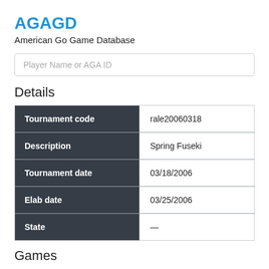AGAGD
American Go Game Database
Player Name or AGA ID
Details
|  |  |
| --- | --- |
| Tournament code | rale20060318 |
| Description | Spring Fuseki |
| Tournament date | 03/18/2006 |
| Elab date | 03/25/2006 |
| State | — |
Games